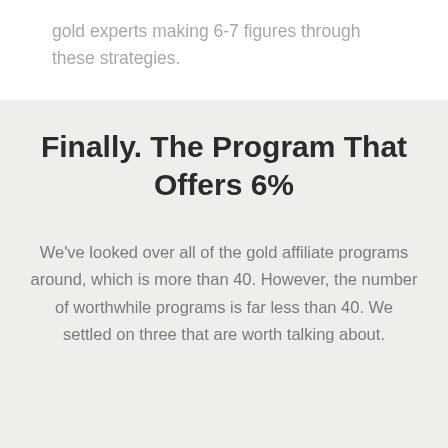gold experts making 6-7 figures through these strategies.
Finally. The Program That Offers 6%
We've looked over all of the gold affiliate programs around, which is more than 40. However, the number of worthwhile programs is far less than 40. We settled on three that are worth talking about.